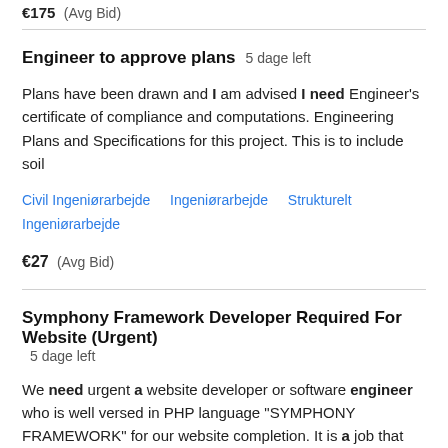€175  (Avg Bid)
Engineer to approve plans  5 dage left
Plans have been drawn and I am advised I need Engineer's certificate of compliance and computations. Engineering Plans and Specifications for this project. This is to include soil
Civil Ingeniørarbejde   Ingeniørarbejde   Strukturelt Ingeniørarbejde
€27  (Avg Bid)
Symphony Framework Developer Required For Website (Urgent)  5 dage left
We need urgent a website developer or software engineer who is well versed in PHP language "SYMPHONY FRAMEWORK" for our website completion. It is a job that needs tweaking and some data transfer from our old